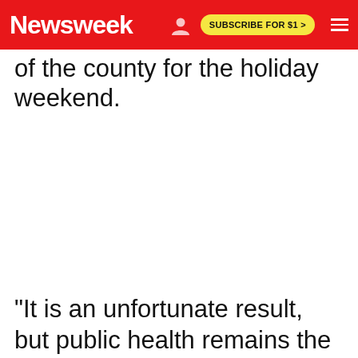Newsweek | SUBSCRIBE FOR $1 >
of the county for the holiday weekend.
"It is an unfortunate result, but public health remains the focus of the elected leaders of